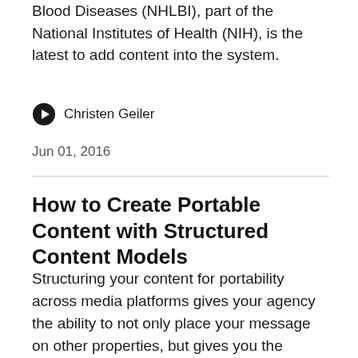Blood Diseases (NHLBI), part of the National Institutes of Health (NIH), is the latest to add content into the system.
Christen Geiler
Jun 01, 2016
How to Create Portable Content with Structured Content Models
Structuring your content for portability across media platforms gives your agency the ability to not only place your message on other properties, but gives you the assurance that your information will always be up-to-date across multiple platforms. This ability is never more important than during an emergency, whether it is a natural disaster or a